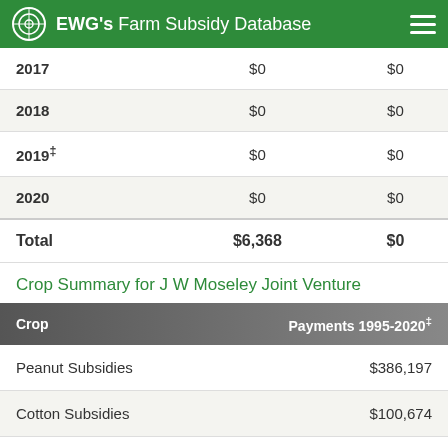EWG's Farm Subsidy Database
| Year | Col2 | Col3 |
| --- | --- | --- |
| 2017 | $0 | $0 |
| 2018 | $0 | $0 |
| 2019‡ | $0 | $0 |
| 2020 | $0 | $0 |
| Total | $6,368 | $0 |
Crop Summary for J W Moseley Joint Venture
| Crop | Payments 1995-2020‡ |
| --- | --- |
| Peanut Subsidies | $386,197 |
| Cotton Subsidies | $100,674 |